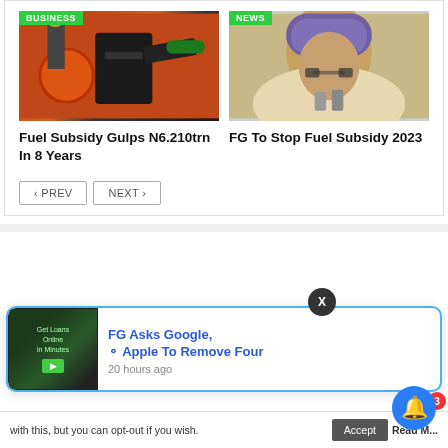[Figure (photo): Photo of a person fueling a vehicle at a gas station with a green nozzle, with a red fuel cap visible. Green 'BUSINESS' badge in top-left corner.]
[Figure (photo): Photo of a woman wearing glasses and a purple/blue headscarf, speaking at a microphone. Green 'NEWS' badge in top-left corner.]
Fuel Subsidy Gulps N6.210trn In 8 Years
FG To Stop Fuel Subsidy 2023
< PREV   NEXT >
[Figure (screenshot): Popup notification card with image of a hand using a tablet/phone showing 'Get Loans Online in Minutes' text on screen. Blue border around card.]
FG Asks Google, Apple To Remove Four
20 hours ago
with this, but you can opt-out if you wish.
Accept
Read M...